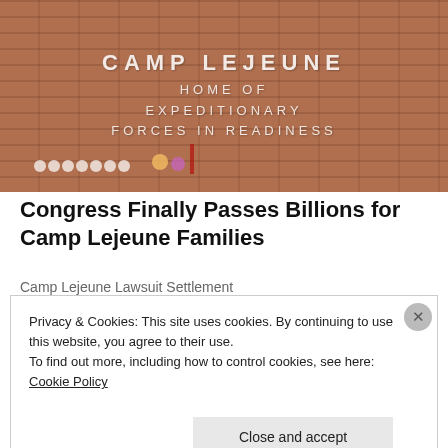[Figure (photo): Photo of Camp Lejeune brick wall sign reading 'CAMP LEJEUNE HOME OF EXPEDITIONARY FORCES IN READINESS' with small figurines/decorations at the base]
Congress Finally Passes Billions for Camp Lejeune Families
Camp Lejeune Lawsuit Settlement
Privacy & Cookies: This site uses cookies. By continuing to use this website, you agree to their use.
To find out more, including how to control cookies, see here: Cookie Policy
Close and accept